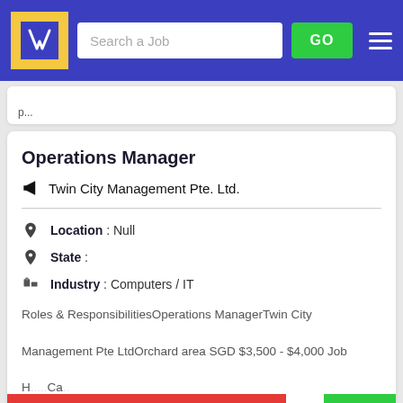[Figure (screenshot): Job portal website header with logo, search bar, GO button, and hamburger menu on blue background]
Operations Manager
Twin City Management Pte. Ltd.
Location : Null
State :
Industry : Computers / IT
Roles & ResponsibilitiesOperations ManagerTwin City Management Pte LtdOrchard area SGD $3,500 - $4,000 Job H... Ca... Progression Opportunities Key ResponsibilitiesLead and provide